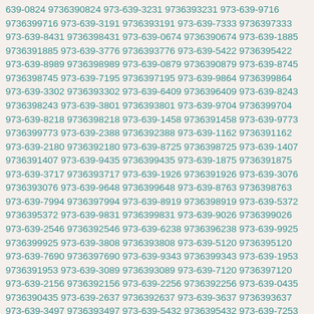639-0824 9736390824 973-639-3231 9736393231 973-639-9716 9736399716 973-639-3191 9736393191 973-639-7333 9736397333 973-639-8431 9736398431 973-639-0674 9736390674 973-639-1885 9736391885 973-639-3776 9736393776 973-639-5422 9736395422 973-639-8989 9736398989 973-639-0879 9736390879 973-639-8745 9736398745 973-639-7195 9736397195 973-639-9864 9736399864 973-639-3302 9736393302 973-639-6409 9736396409 973-639-8243 9736398243 973-639-3801 9736393801 973-639-9704 9736399704 973-639-8218 9736398218 973-639-1458 9736391458 973-639-9773 9736399773 973-639-2388 9736392388 973-639-1162 9736391162 973-639-2180 9736392180 973-639-8725 9736398725 973-639-1407 9736391407 973-639-9435 9736399435 973-639-1875 9736391875 973-639-3717 9736393717 973-639-1926 9736391926 973-639-3076 9736393076 973-639-9648 9736399648 973-639-8763 9736398763 973-639-7994 9736397994 973-639-8919 9736398919 973-639-5372 9736395372 973-639-9831 9736399831 973-639-9026 9736399026 973-639-2546 9736392546 973-639-6238 9736396238 973-639-9925 9736399925 973-639-3808 9736393808 973-639-5120 9736395120 973-639-7690 9736397690 973-639-9343 9736399343 973-639-1953 9736391953 973-639-3089 9736393089 973-639-7120 9736397120 973-639-2156 9736392156 973-639-2256 9736392256 973-639-0435 9736390435 973-639-2637 9736392637 973-639-3637 9736393637 973-639-3497 9736393497 973-639-5432 9736395432 973-639-7253 9736397253 973-639-8707 9736398707 973-639-5499 9736395499 973-639-0240 9736390240 973-639-8400 9736398400 973-639-0172 9736390172 973-639-8375 9736398375 973-639-8958 9736398958 973-